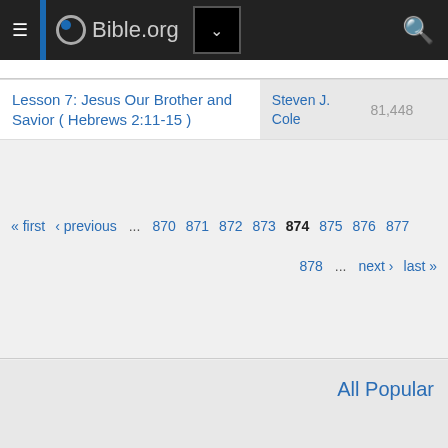Bible.org
| Title | Author | Views |
| --- | --- | --- |
| Lesson 7: Jesus Our Brother and Savior ( Hebrews 2:11-15 ) | Steven J. Cole | 81,448 |
« first ‹ previous … 870 871 872 873 874 875 876 877
878 … next › last »
All Popular